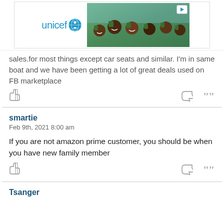[Figure (infographic): UNICEF advertisement banner with logo on left and photo of smiling children in green hats on right, with a play button icon in top right corner]
sales.for most things except car seats and similar. I'm in same boat and we have been getting a lot of great deals used on FB marketplace
[like icon] [reply icon] [quote icon]
smartie
Feb 9th, 2021 8:00 am

If you are not amazon prime customer, you should be when you have new family member
[like icon] [reply icon] [quote icon]
Tsanger